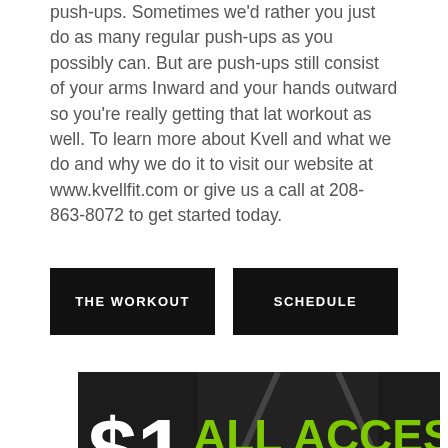push-ups. Sometimes we'd rather you just do as many regular push-ups as you possibly can. But are push-ups still consist of your arms Inward and your hands outward so you're really getting that lat workout as well. To learn more about Kvell and what we do and why we do it to visit our website at www.kvellfit.com or give us a call at 208-863-8072 to get started today.
[Figure (other): Two black buttons side by side: 'THE WORKOUT' and 'SCHEDULE']
[Figure (infographic): Promotional banner with dark background showing a woman exercising. Text reads '$1 ALL ACCESS PASS' with green and white lettering. A 'Call Us' button with phone icon appears in the lower right.]